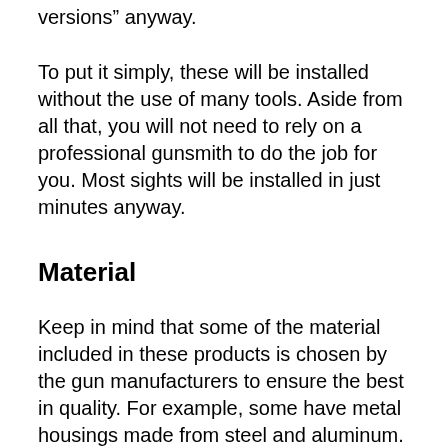versions” anyway.
To put it simply, these will be installed without the use of many tools. Aside from all that, you will not need to rely on a professional gunsmith to do the job for you. Most sights will be installed in just minutes anyway.
Material
Keep in mind that some of the material included in these products is chosen by the gun manufacturers to ensure the best in quality. For example, some have metal housings made from steel and aluminum. Those are designed to make sure the sight is durable and is able to withstand the shock